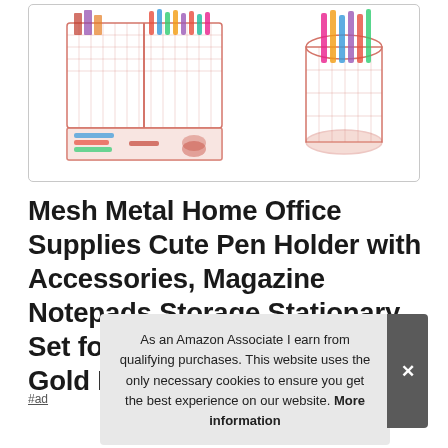[Figure (photo): Rose gold mesh metal desk organizer with multiple compartments and drawers filled with office supplies, and a separate cylindrical pen holder on the right side]
Mesh Metal Home Office Supplies Cute Pen Holder with Accessories, Magazine Notepads Storage Stationary Set for Women Girls, Rose Gold Desk Or
As an Amazon Associate I earn from qualifying purchases. This website uses the only necessary cookies to ensure you get the best experience on our website. More information
#ad